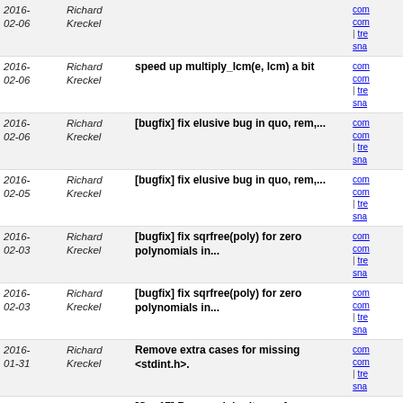| Date | Author | Message | Links |
| --- | --- | --- | --- |
| 2016-
02-06 | Richard
Kreckel |  | com
com
| tre
sna |
| 2016-
02-06 | Richard
Kreckel | speed up multiply_lcm(e, lcm) a bit | com
com
| tre
sna |
| 2016-
02-06 | Richard
Kreckel | [bugfix] fix elusive bug in quo, rem,... | com
com
| tre
sna |
| 2016-
02-05 | Richard
Kreckel | [bugfix] fix elusive bug in quo, rem,... | com
com
| tre
sna |
| 2016-
02-03 | Richard
Kreckel | [bugfix] fix sqrfree(poly) for zero polynomials in... | com
com
| tre
sna |
| 2016-
02-03 | Richard
Kreckel | [bugfix] fix sqrfree(poly) for zero polynomials in... | com
com
| tre
sna |
| 2016-
01-31 | Richard
Kreckel | Remove extra cases for missing <stdint.h>. | com
com
| tre
sna |
| 2016-
01-29 | Richard
Kreckel | [C++17] Remove inheritance from std::binary_function... | com
com
| tre
sna |
| 2016-
01-29 | Richard
Kreckel | [C++17] Replace std::bind2nd with a lambda. | com
com
| tre
sna |
| 2016-
01-28 | Richard
Kreckel | Remove global variable max_recursion_level. | com
com
| tre
sna |
| 2016-
01-28 | Richard
Kreckel | Remove 'level' argument of normal(). | com
com
| tre |